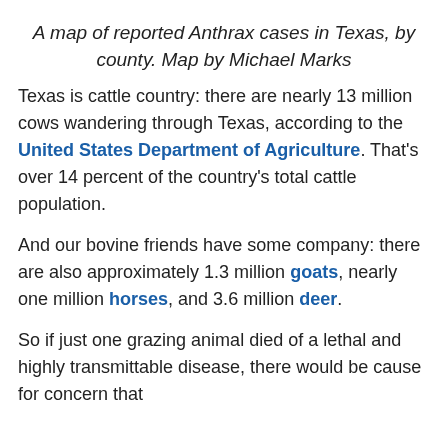A map of reported Anthrax cases in Texas, by county. Map by Michael Marks
Texas is cattle country: there are nearly 13 million cows wandering through Texas, according to the United States Department of Agriculture. That's over 14 percent of the country's total cattle population.
And our bovine friends have some company: there are also approximately 1.3 million goats, nearly one million horses, and 3.6 million deer.
So if just one grazing animal died of a lethal and highly transmittable disease, there would be cause for concern that...